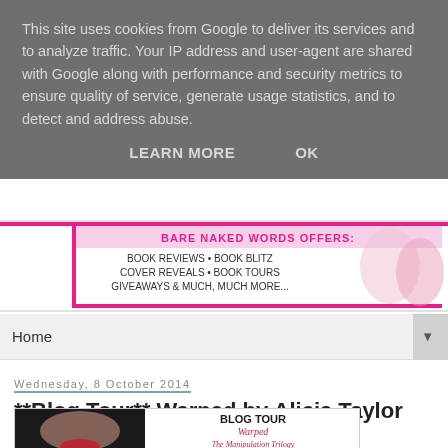This site uses cookies from Google to deliver its services and to analyze traffic. Your IP address and user-agent are shared with Google along with performance and security metrics to ensure quality of service, generate usage statistics, and to detect and address abuse.
LEARN MORE   OK
[Figure (illustration): Promotional banner for a book blog: 'BARE NAKED WORDS OFFERS: BOOK REVIEWS • BOOK BLITZ COVER REVEALS • BOOK TOURS GIVEAWAYS & MUCH, MUCH MORE...' with illustrated women figures on the right]
Home
Wednesday, 8 October 2014
**Blog Tour** Warped by Alicia Taylor and Natalie Johnson
[Figure (illustration): Blog Tour banner image for 'Warped - The Manipulation Trilogy' showing a woman's face with red lips on the left, and text 'BLOG TOUR Warped The Manipulation Trilogy' on the right]